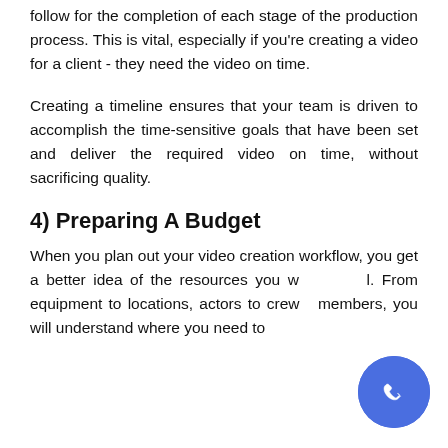follow for the completion of each stage of the production process. This is vital, especially if you're creating a video for a client - they need the video on time.
Creating a timeline ensures that your team is driven to accomplish the time-sensitive goals that have been set and deliver the required video on time, without sacrificing quality.
4) Preparing A Budget
When you plan out your video creation workflow, you get a better idea of the resources you will need. From equipment to locations, actors to crew members, you will understand where you need to